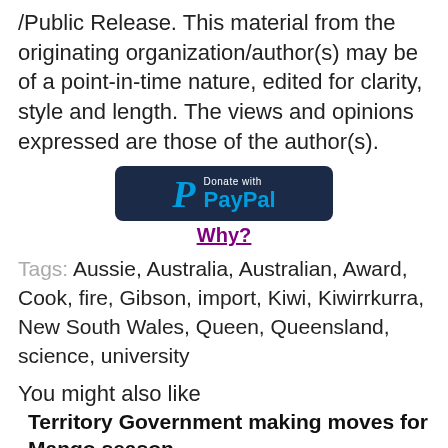/Public Release. This material from the originating organization/author(s) may be of a point-in-time nature, edited for clarity, style and length. The views and opinions expressed are those of the author(s).
[Figure (logo): Donate with PayPal button - dark navy blue rounded rectangle with PayPal logo (cyan P) and text 'Donate with PayPal']
Why?
Tags: Aussie, Australia, Australian, Award, Cook, fire, Gibson, import, Kiwi, Kiwirrkurra, New South Wales, Queen, Queensland, science, university
You might also like
Territory Government making moves for Mango season
Victorian First To Deliver Thousands More Surgeries